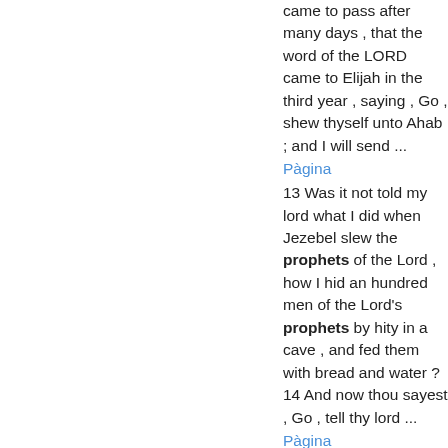came to pass after many days , that the word of the LORD came to Elijah in the third year , saying , Go , shew thyself unto Ahab ; and I will send ...
Pàgina
13 Was it not told my lord what I did when Jezebel slew the prophets of the Lord , how I hid an hundred men of the Lord's prophets by hity in a cave , and fed them with bread and water ? 14 And now thou sayest , Go , tell thy lord ...
Pàgina
fifty , and the prophets of the groves four hundred , which eat at Jezebel's table . 20 ' So Ahab sent unto all the